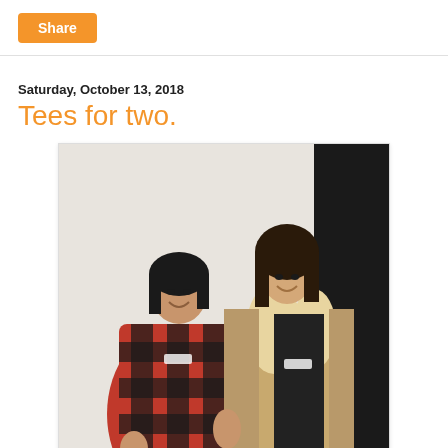Share
Saturday, October 13, 2018
Tees for two.
[Figure (photo): Two women smiling and standing together indoors. The woman on the left is shorter, with dark hair, wearing a red and black buffalo plaid coat. The taller woman on the right has long dark hair with bangs, wearing a tan shearling jacket over a black top. Both appear to be employees wearing name badges.]